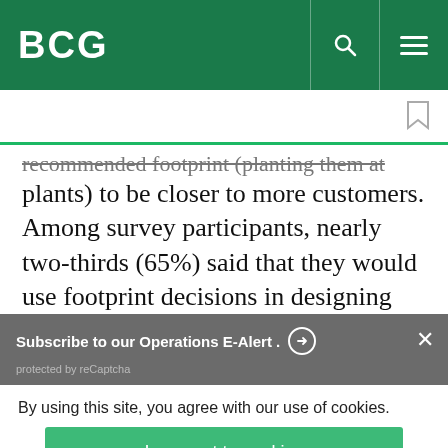BCG
...recommended footprint (planting them at multiple plants) to be closer to more customers. Among survey participants, nearly two-thirds (65%) said that they would use footprint decisions in designing
Subscribe to our Operations E-Alert.
protected by reCaptcha
By using this site, you agree with our use of cookies.
I consent to cookies
Want to know more?
Read our Cookie Policy